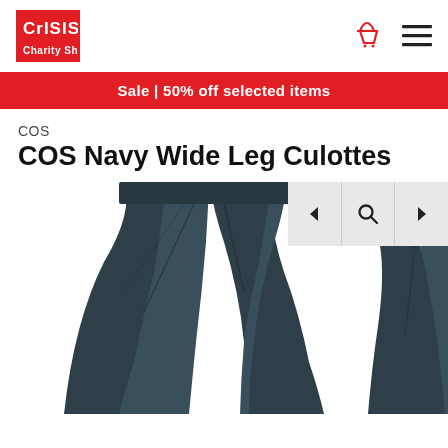[Figure (logo): Crisis charity shop logo — white text on red square background]
[Figure (infographic): Red shopping basket icon and hamburger menu icon]
Sale | 50% off selected items
COS
COS Navy Wide Leg Culottes
[Figure (photo): Navy wide leg culottes photographed flat against white background, showing wide flared legs and waistband]
[Figure (infographic): Image navigation controls: left arrow, magnifying glass search icon, right arrow on grey background]
[Figure (photo): Partial view of a second navy garment on the right edge of the image area]